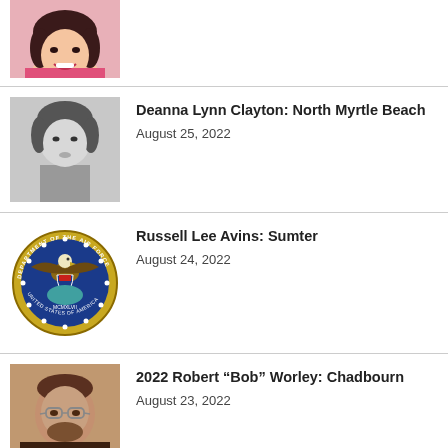[Figure (photo): Partial photo of a smiling woman in a pink top, cropped at the top of the page]
[Figure (photo): Black and white portrait photo of Deanna Lynn Clayton]
Deanna Lynn Clayton: North Myrtle Beach
August 25, 2022
[Figure (logo): Department of the Air Force seal / emblem]
Russell Lee Avins: Sumter
August 24, 2022
[Figure (photo): Color photo of Robert Bob Worley, a man with glasses and a beard]
2022 Robert “Bob” Worley: Chadbourn
August 23, 2022